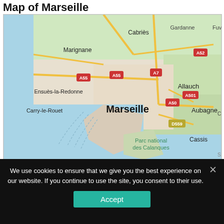Map of Marseille
[Figure (map): Google Maps view of Marseille and surrounding region, showing the city of Marseille prominently labeled in bold, with surrounding towns including Marignane, Cabrièes, Gardanne, Fuveau, Ensuès-la-Redonne, Carry-le-Rouet, Allauch, Aubagne, Cassis, and Parc national des Calanques. Highway labels shown: A55, A55, A7, A52, A501, A50, D559. Mediterranean coastline visible on the west and south.]
We use cookies to ensure that we give you the best experience on our website. If you continue to use the site, you consent to their use.